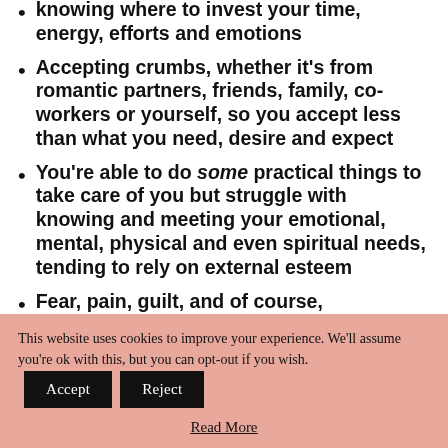knowing where to invest your time, energy, efforts and emotions
Accepting crumbs, whether it's from romantic partners, friends, family, co-workers or yourself, so you accept less than what you need, desire and expect
You're able to do some practical things to take care of you but struggle with knowing and meeting your emotional, mental, physical and even spiritual needs, tending to rely on external esteem
Fear, pain, guilt, and of course,
This website uses cookies to improve your experience. We'll assume you're ok with this, but you can opt-out if you wish. [Accept] [Reject] Read More